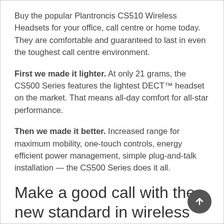Buy the popular Plantroncis CS510 Wireless Headsets for your office, call centre or home today. They are comfortable and guaranteed to last in even the toughest call centre environment.
First we made it lighter. At only 21 grams, the CS500 Series features the lightest DECT™ headset on the market. That means all-day comfort for all-star performance.
Then we made it better. Increased range for maximum mobility, one-touch controls, energy efficient power management, simple plug-and-talk installation — the CS500 Series does it all.
Make a good call with the new standard in wireless desk phone headset systems